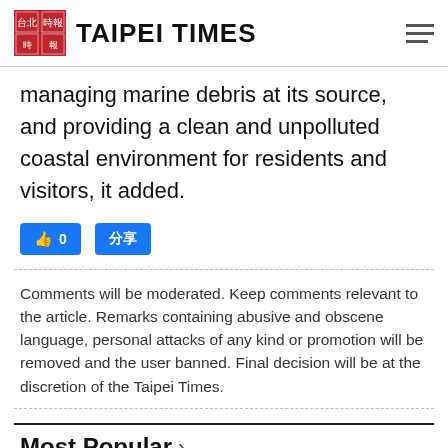TAIPEI TIMES
managing marine debris at its source, and providing a clean and unpolluted coastal environment for residents and visitors, it added.
[Figure (other): Two Facebook social sharing buttons (Like and Share) in blue]
Comments will be moderated. Keep comments relevant to the article. Remarks containing abusive and obscene language, personal attacks of any kind or promotion will be removed and the user banned. Final decision will be at the discretion of the Taipei Times.
Most Popular
1 Vitamin D could speed dementia: study